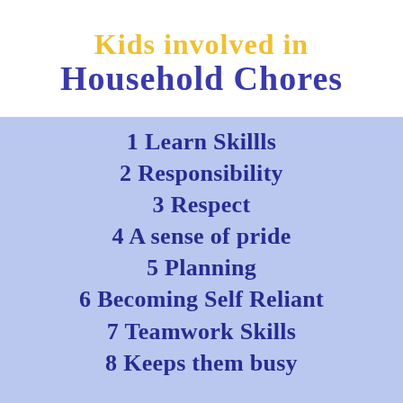Kids involved in Household Chores
1 Learn Skillls
2 Responsibility
3 Respect
4 A sense of pride
5 Planning
6 Becoming Self Reliant
7 Teamwork Skills
8 Keeps them busy